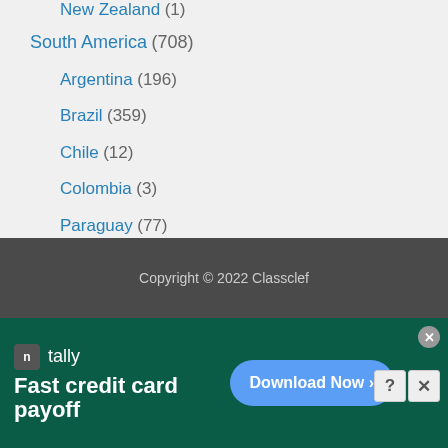New Zealand (1)
South America (708)
Argentina (196)
Brazil (359)
Chile (12)
Colombia (3)
Paraguay (77)
Uruguay (3)
Venezuela (56)
Copyright © 2022 Classclef
[Figure (other): Tally app advertisement banner: 'Fast credit card payoff' with Download Now button]